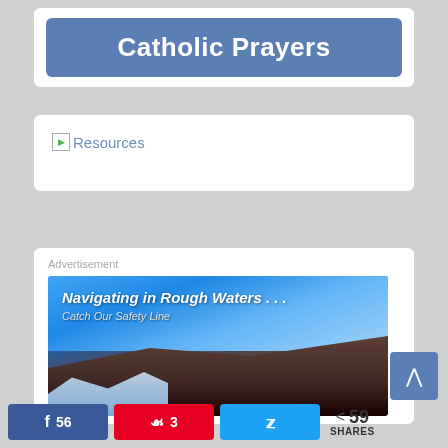Catholic Prayers
[Figure (screenshot): Broken image icon followed by Resources link text in blue]
Advertisement
[Figure (photo): Advertisement banner: Navigating in Rough Waters... Catch Our Safety Line — image of ocean waves crashing against rocks with blue sky]
56  3  59 SHARES